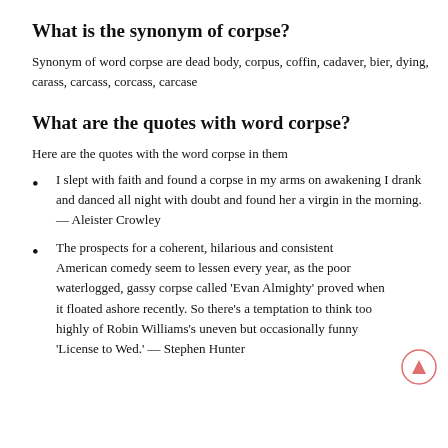What is the synonym of corpse?
Synonym of word corpse are dead body, corpus, coffin, cadaver, bier, dying, carass, carcass, corcass, carcase
What are the quotes with word corpse?
Here are the quotes with the word corpse in them
I slept with faith and found a corpse in my arms on awakening I drank and danced all night with doubt and found her a virgin in the morning. — Aleister Crowley
The prospects for a coherent, hilarious and consistent American comedy seem to lessen every year, as the poor waterlogged, gassy corpse called 'Evan Almighty' proved when it floated ashore recently. So there's a temptation to think too highly of Robin Williams's uneven but occasionally funny 'License to Wed.' — Stephen Hunter